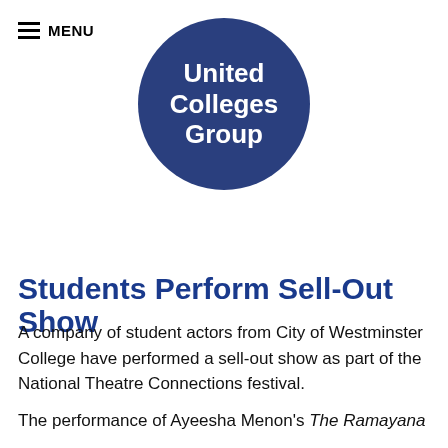MENU
[Figure (logo): United Colleges Group circular logo with white text on dark navy blue background]
Students Perform Sell-Out Show
A company of student actors from City of Westminster College have performed a sell-out show as part of the National Theatre Connections festival.
The performance of Ayeesha Menon's The Ramayana